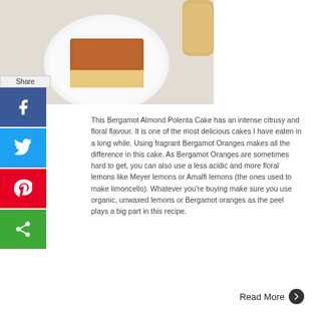[Figure (photo): Overhead photo of a slice of Bergamot Almond Polenta Cake on a white plate, placed on a white linen cloth, with a glass jar visible in the top right corner.]
This Bergamot Almond Polenta Cake has an intense citrusy and floral flavour. It is one of the most delicious cakes I have eaten in a long while. Using fragrant Bergamot Oranges makes all the difference in this cake. As Bergamot Oranges are sometimes hard to get, you can also use a less acidic and more floral lemons like Meyer lemons or Amalfi lemons (the ones used to make limoncello). Whatever you’re buying make sure you use organic, unwaxed lemons or Bergamot oranges as the peel plays a big part in this recipe.
Read More